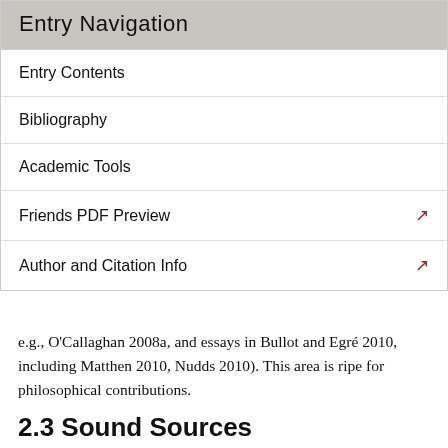Entry Navigation
Entry Contents
Bibliography
Academic Tools
Friends PDF Preview
Author and Citation Info
e.g., O'Callaghan 2008a, and essays in Bullot and Egré 2010, including Matthen 2010, Nudds 2010). This area is ripe for philosophical contributions.
2.3 Sound Sources
Sounds are among the objects of audition. Plausibly, so are complex, temporally extended individuals composed of sounds. Do we hear anything else? Reflection suggests we hear things beyond sounds and sound complexes. In hearing sounds, one may seem to experience the backfiring of the car or the banging of the drum. One